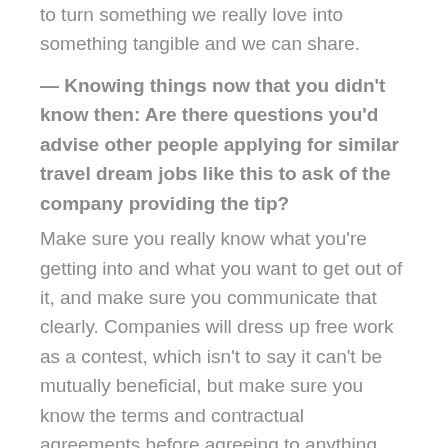to turn something we really love into something tangible and we can share.
— Knowing things now that you didn't know then: Are there questions you'd advise other people applying for similar travel dream jobs like this to ask of the company providing the tip?
Make sure you really know what you're getting into and what you want to get out of it, and make sure you communicate that clearly. Companies will dress up free work as a contest, which isn't to say it can't be mutually beneficial, but make sure you know the terms and contractual agreements before agreeing to anything